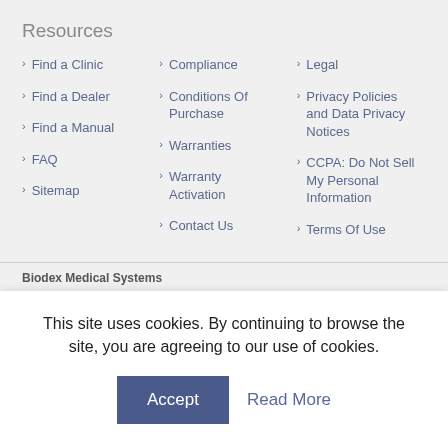Resources
Find a Clinic
Find a Dealer
Find a Manual
FAQ
Sitemap
Compliance
Conditions Of Purchase
Warranties
Warranty Activation
Contact Us
Legal
Privacy Policies and Data Privacy Notices
CCPA: Do Not Sell My Personal Information
Terms Of Use
Biodex Medical Systems
This site uses cookies. By continuing to browse the site, you are agreeing to our use of cookies.